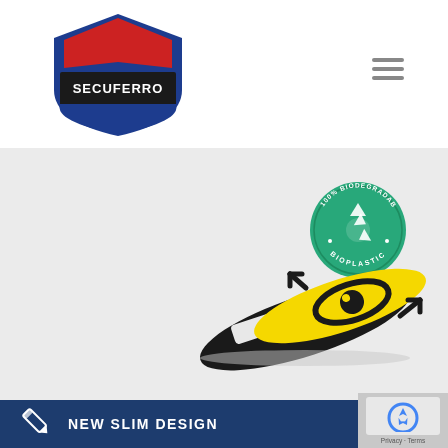[Figure (logo): Secuferro Security Premiums logo — shield shape with red top panel, blue outer shield, dark banner with white text SECUFERRO, smaller text SECURITY PREMIUMS below]
[Figure (illustration): Hamburger menu icon — three horizontal grey lines]
[Figure (photo): Grey background hero section showing a yellow and black webcam cover/slider with an eye graphic, and a green circular 100% Biodegradable Bioplastic badge in the upper right]
[Figure (illustration): Pencil/pen icon in white outline style]
NEW SLIM DESIGN
[Figure (other): reCAPTCHA widget partial view with Privacy · Terms text]